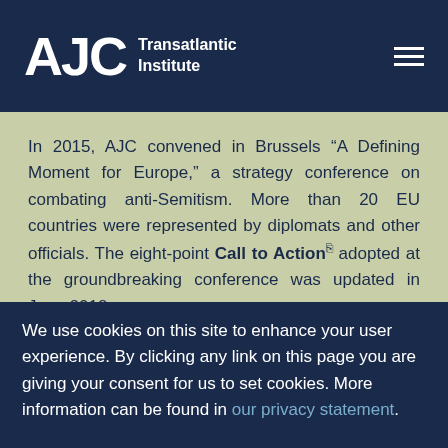AJC Transatlantic Institute
In 2015, AJC convened in Brussels “A Defining Moment for Europe,” a strategy conference on combating anti-Semitism. More than 20 EU countries were represented by diplomats and other officials. The eight-point Call to Action adopted at the groundbreaking conference was updated in June 2018.
“The FRA reports provide a unique and dismaying perspective,” said Harris. “European leaders, who laudably adopted a declaration in Brussels last week to step-up the fight against anti-Semitism, must realize that they have
We use cookies on this site to enhance your user experience. By clicking any link on this page you are giving your consent for us to set cookies. More information can be found in our privacy statement.